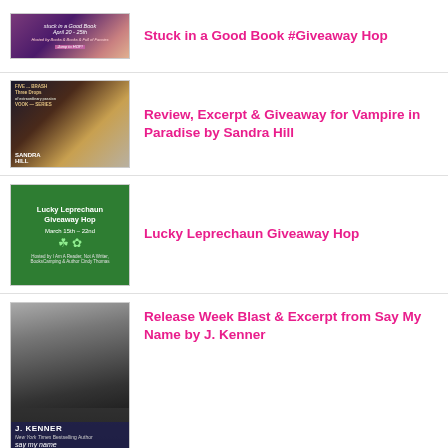[Figure (illustration): Thumbnail image for Stuck in a Good Book Giveaway Hop blog post]
Stuck in a Good Book #Giveaway Hop
[Figure (illustration): Thumbnail image for Vampire in Paradise by Sandra Hill review/excerpt/giveaway blog post]
Review, Excerpt & Giveaway for Vampire in Paradise by Sandra Hill
[Figure (illustration): Lucky Leprechaun Giveaway Hop event image, green background, March 15th-22nd]
Lucky Leprechaun Giveaway Hop
[Figure (illustration): Book cover for Say My Name by J. Kenner, black and white photo of a man]
Release Week Blast & Excerpt from Say My Name by J. Kenner